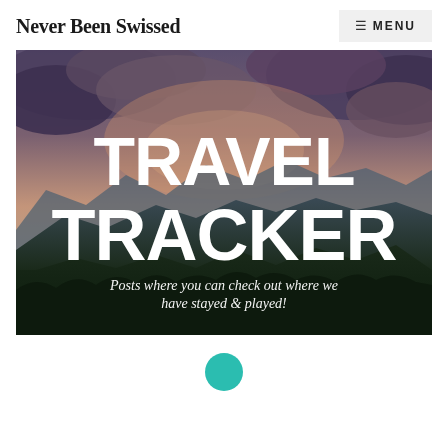Never Been Swissed
[Figure (illustration): Hero banner image showing a mountain landscape at dusk with clouds, overlaid with bold white text 'TRAVEL TRACKER' and italic white subtitle 'Posts where you can check out where we have stayed & played!']
[Figure (other): Teal/turquoise circular icon at the bottom center of the page, partially visible]